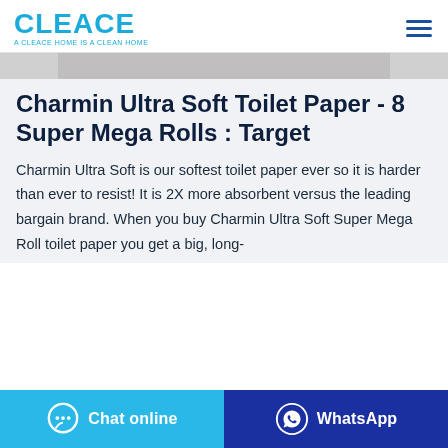CLEACE — A CLEACE HOME IS A CLEAN HOME
[Figure (photo): Partial product image strip at top of content area]
Charmin Ultra Soft Toilet Paper - 8 Super Mega Rolls : Target
Charmin Ultra Soft is our softest toilet paper ever so it is harder than ever to resist! It is 2X more absorbent versus the leading bargain brand. When you buy Charmin Ultra Soft Super Mega Roll toilet paper you get a big, long-
Chat online | WhatsApp